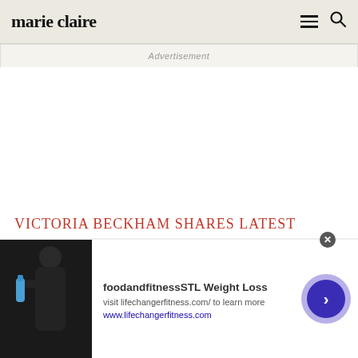marie claire
Advertisement
VICTORIA BECKHAM SHARES LATEST
[Figure (screenshot): Bottom advertisement banner for foodandfitnessSTL Weight Loss featuring a person holding a water bottle, with text 'foodandfitnessSTL Weight Loss', 'visit lifechangerfitness.com/ to learn more', 'www.lifechangerfitness.com', and a forward arrow button on the right]